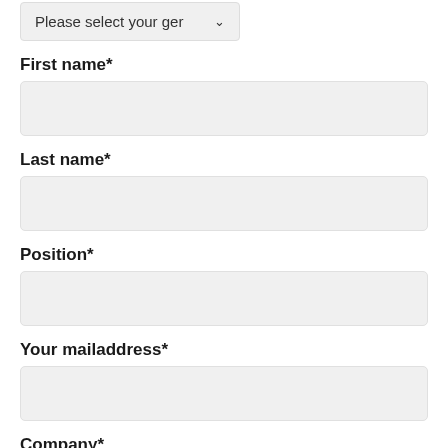[Figure (screenshot): Dropdown selector showing 'Please select your ger' with a chevron/arrow indicator]
First name*
[Figure (screenshot): Empty text input field for First name]
Last name*
[Figure (screenshot): Empty text input field for Last name]
Position*
[Figure (screenshot): Empty text input field for Position]
Your mailaddress*
[Figure (screenshot): Empty text input field for Your mailaddress]
Company*
[Figure (screenshot): Empty text input field for Company]